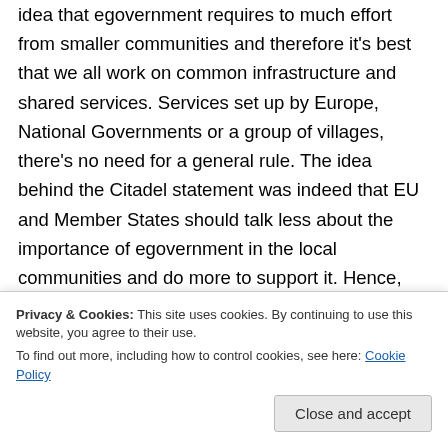idea that egovernment requires to much effort from smaller communities and therefore it's best that we all work on common infrastructure and shared services. Services set up by Europe, National Governments or a group of villages, there's no need for a general rule. The idea behind the Citadel statement was indeed that EU and Member States should talk less about the importance of egovernment in the local communities and do more to support it. Hence, the first recommendation that EU and national
Privacy & Cookies: This site uses cookies. By continuing to use this website, you agree to their use.
To find out more, including how to control cookies, see here: Cookie Policy
Data, but in reality we hear nothing from the top